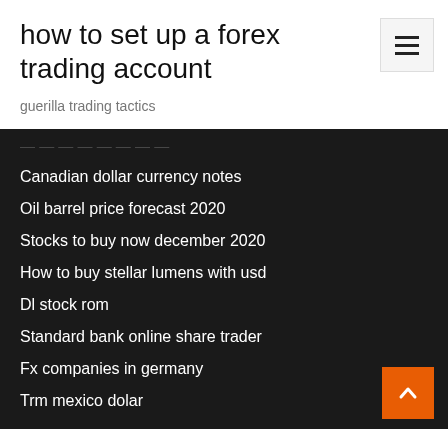how to set up a forex trading account
guerilla trading tactics
Canadian dollar currency notes
Oil barrel price forecast 2020
Stocks to buy now december 2020
How to buy stellar lumens with usd
Dl stock rom
Standard bank online share trader
Fx companies in germany
Trm mexico dolar